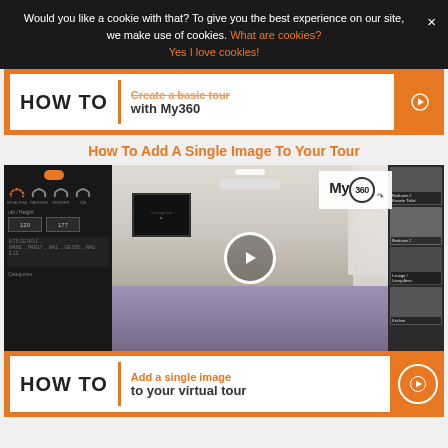Would you like a cookie with that? To give you the best experience on our site, we make use of cookies. What are cookies?
Yes I love cookies!
[Figure (screenshot): How To Create a basic tour with My360 banner with orange arrow button]
How To Add A Single Image To Your Tour
[Figure (screenshot): Video thumbnail showing My360 virtual tour interface with bedroom image, play button, control panel on left, thumbnail panel on right, and My360 logo. Bottom banner reads HOW TO | Add a single image to your virtual tour.]
HOW TO | Add a single image to your virtual tour